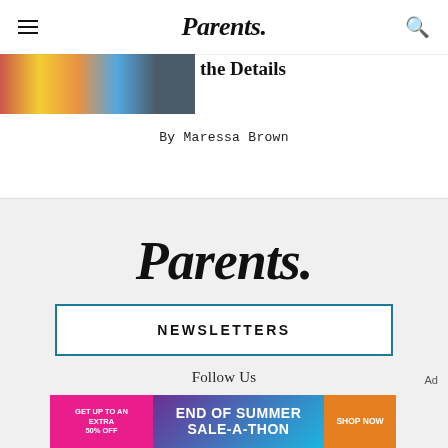Parents.
[Figure (photo): Partial cropped image strip showing colorful items]
the Details
By Maressa Brown
[Figure (logo): Parents. logo in large bold italic serif font]
NEWSLETTERS
Follow Us
[Figure (infographic): Advertisement banner: GET UP TO AN EXTRA 50% OFF — END OF SUMMER SALE-A-THON — SHOP NOW]